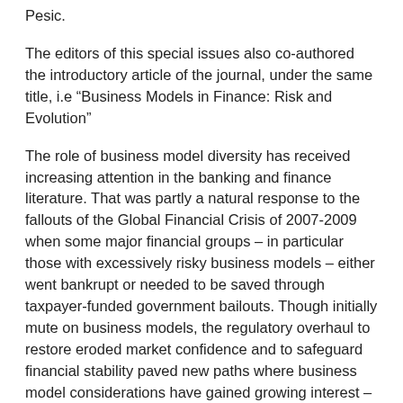Pesic.
The editors of this special issues also co-authored the introductory article of the journal, under the same title, i.e “Business Models in Finance: Risk and Evolution”
The role of business model diversity has received increasing attention in the banking and finance literature. That was partly a natural response to the fallouts of the Global Financial Crisis of 2007-2009 when some major financial groups – in particular those with excessively risky business models – either went bankrupt or needed to be saved through taxpayer-funded government bailouts. Though initially mute on business models, the regulatory overhaul to restore eroded market confidence and to safeguard financial stability paved new paths where business model considerations have gained growing interest – e.g., in the Supervisory Review and Evaluation Process (SREP)